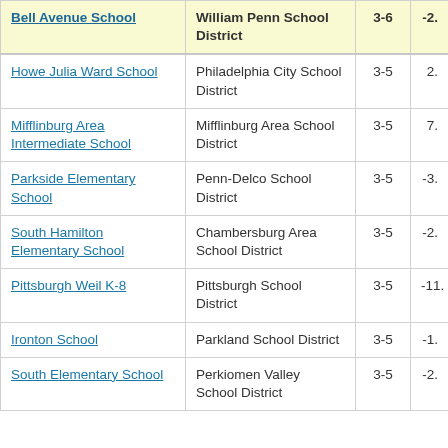| Bell Avenue School | William Penn School District | 3-6 | -2. |
| --- | --- | --- | --- |
| Howe Julia Ward School | Philadelphia City School District | 3-5 | 2. |
| Mifflinburg Area Intermediate School | Mifflinburg Area School District | 3-5 | 7. |
| Parkside Elementary School | Penn-Delco School District | 3-5 | -3. |
| South Hamilton Elementary School | Chambersburg Area School District | 3-5 | -2. |
| Pittsburgh Weil K-8 | Pittsburgh School District | 3-5 | -11. |
| Ironton School | Parkland School District | 3-5 | -1. |
| South Elementary School | Perkiomen Valley School District | 3-5 | -2. |